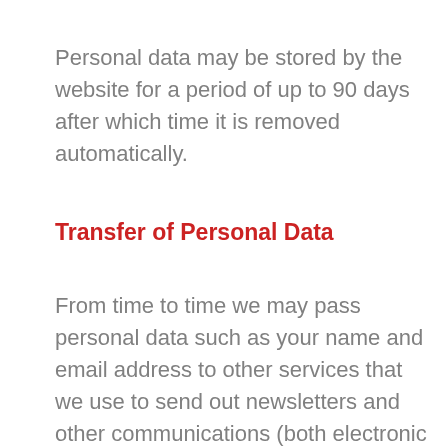Personal data may be stored by the website for a period of up to 90 days after which time it is removed automatically.
Transfer of Personal Data
From time to time we may pass personal data such as your name and email address to other services that we use to send out newsletters and other communications (both electronic and print). Companies based outside the UK are permitted destinations under UK GDPR legislation, as long as the country, territory, sector or international organisation is covered by the ‘adequacy